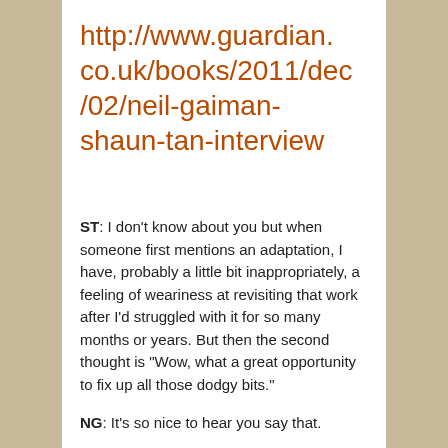http://www.guardian.co.uk/books/2011/dec/02/neil-gaiman-shaun-tan-interview
ST: I don't know about you but when someone first mentions an adaptation, I have, probably a little bit inappropriately, a feeling of weariness at revisiting that work after I'd struggled with it for so many months or years. But then the second thought is "Wow, what a great opportunity to fix up all those dodgy bits."
NG: It's so nice to hear you say that.